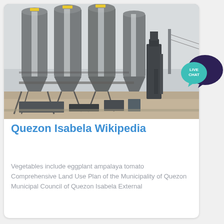[Figure (photo): Industrial cement silos facility with four large cylindrical towers and machinery on the ground. Overcast sky in background.]
Quezon Isabela Wikipedia
Vegetables include eggplant ampalaya tomato Comprehensive Land Use Plan of the Municipality of Quezon Municipal Council of Quezon Isabela External
[Figure (other): Live Chat speech bubble icon with dark navy background bubble and teal/cyan smaller bubble with LIVE CHAT text]